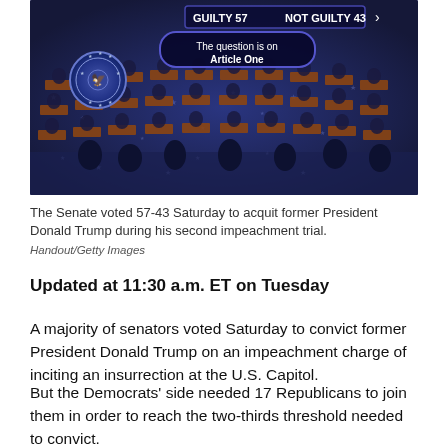[Figure (photo): Screenshot of U.S. Senate chamber during impeachment trial vote, showing overhead view of senators at desks on blue carpet, with score graphic reading 'Guilty 57 Not Guilty 43' and overlay text 'The question is on Article One']
The Senate voted 57-43 Saturday to acquit former President Donald Trump during his second impeachment trial.
Handout/Getty Images
Updated at 11:30 a.m. ET on Tuesday
A majority of senators voted Saturday to convict former President Donald Trump on an impeachment charge of inciting an insurrection at the U.S. Capitol.
But the Democrats' side needed 17 Republicans to join them in order to reach the two-thirds threshold needed to convict.